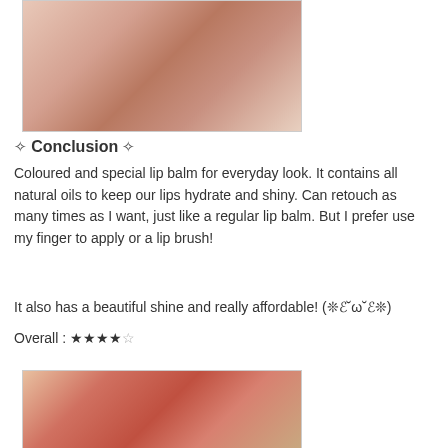[Figure (photo): Close-up photo of a woman with reddish-brown hair, wearing a white strap top, hand near face]
✿ Conclusion ✿
Coloured and special lip balm for everyday look. It contains all natural oils to keep our lips hydrate and shiny. Can retouch as many times as I want, just like a regular lip balm. But I prefer use my finger to apply or a lip brush!
It also has a beautiful shine and really affordable! (❊ℰ˘ω˘ℰ❊)
Overall : ★★★★☆
[Figure (photo): Close-up photo of a woman with red/coral lipstick being applied with a lip brush]